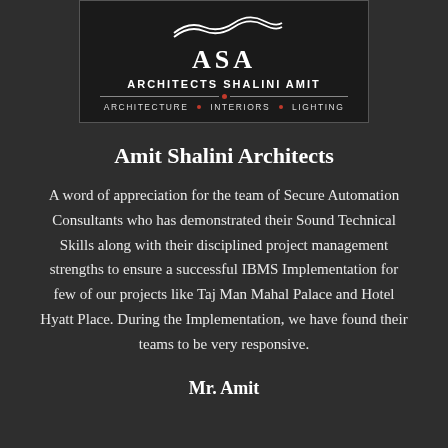[Figure (logo): ASA – Architects Shalini Amit logo. Dark background with stylized wave graphic above the letters ASA. Below: ARCHITECTS SHALINI AMIT in bold, then ARCHITECTURE · INTERIORS · LIGHTING with red dots as separators.]
Amit Shalini Architects
A word of appreciation for the team of Secure Automation Consultants who has demonstrated their Sound Technical Skills along with their disciplined project management strengths to ensure a successful IBMS Implementation for few of our projects like Taj Man Mahal Palace and Hotel Hyatt Place. During the Implementation, we have found their teams to be very responsive.
Mr. Amit